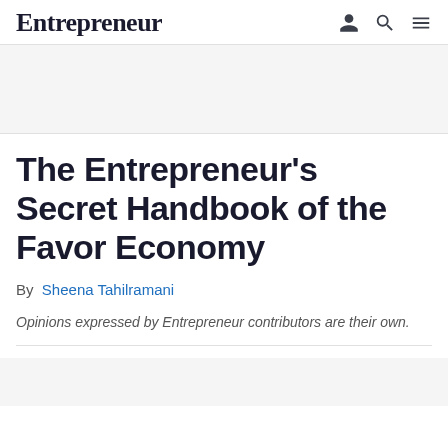Entrepreneur
The Entrepreneur's Secret Handbook of the Favor Economy
By Sheena Tahilramani
Opinions expressed by Entrepreneur contributors are their own.